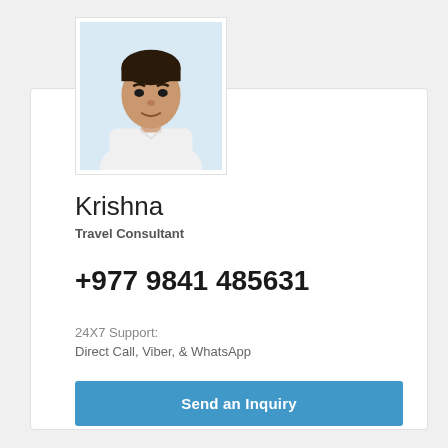[Figure (photo): Headshot photo of a man in a white shirt against a light blue background, displayed in a white bordered frame]
Krishna
Travel Consultant
+977 9841 485631
24X7 Support:
Direct Call, Viber, & WhatsApp
Send an Inquiry